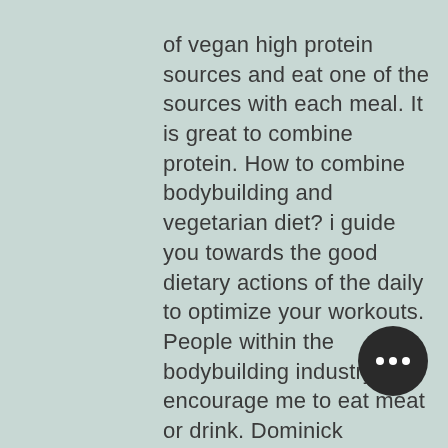of vegan high protein sources and eat one of the sources with each meal. It is great to combine protein. How to combine bodybuilding and vegetarian diet? i guide you towards the good dietary actions of the daily to optimize your workouts. People within the bodybuilding industry encourage me to eat meat or drink. Dominick thompson · nimai delgado · korin sutton · samantha shorkey · john. Your ultimate source for vegetarian bodybuilding. Articles, interviews, protein tips, how to become a vegetarian, and more. The wellness world might be full of plant-based alternatives but when it comes to bodybuilding, veganism is still something of an anomaly. 23, uc davis's vegan activist club, people for the elimination of animal cruelty through education, brought vegan bodybuilders jeff morgan,. This book takes even the beginner bodybuilder and shows them how a vegan bodybuilding diet and fitness can seriously improve their life.
[Figure (other): A dark circular button with three white dots (more options / ellipsis button)]